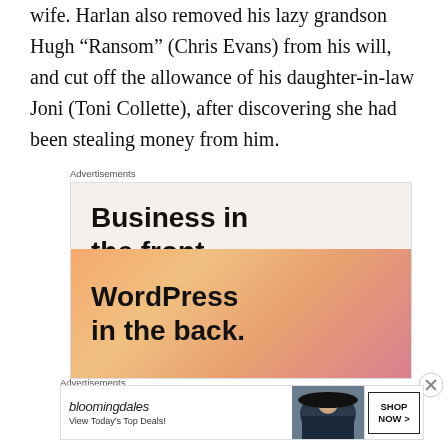wife. Harlan also removed his lazy grandson Hugh “Ransom” (Chris Evans) from his will, and cut off the allowance of his daughter-in-law Joni (Toni Collette), after discovering she had been stealing money from him.
Advertisements
[Figure (infographic): Advertisement banner: 'Business in the front...' on a light cream background top half, and 'WordPress in the back.' on a warm orange/pink gradient bottom half.]
Advertisements
[Figure (infographic): Bloomingdale's advertisement banner with logo, 'View Today's Top Deals!' text, image of woman in hat, and 'SHOP NOW >' button.]